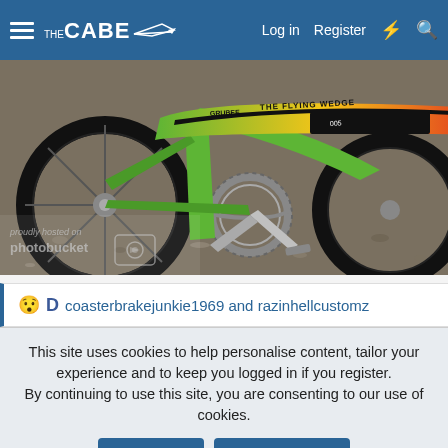THE CABE — Log in  Register
[Figure (photo): Close-up photo of a green vintage-style bicycle showing the rear seat, chain, and wheel. The bike has a colorful seat labeled 'THE FLYING WEDGE' transitioning from green to red. A photobucket watermark is visible in the lower left corner.]
coasterbrakejunkie1969 and razinhellcustomz
This site uses cookies to help personalise content, tailor your experience and to keep you logged in if you register. By continuing to use this site, you are consenting to our use of cookies.